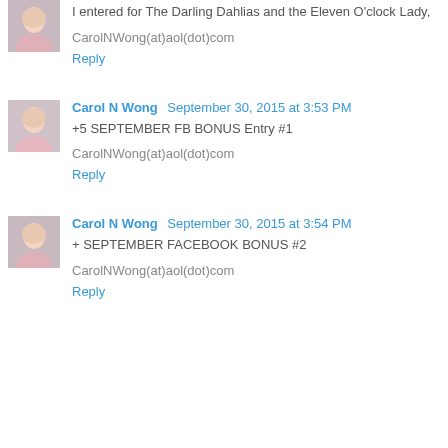I entered for The Darling Dahlias and the Eleven O'clock Lady,
CarolNWong(at)aol(dot)com
Reply
Carol N Wong  September 30, 2015 at 3:53 PM
+5 SEPTEMBER FB BONUS Entry #1
CarolNWong(at)aol(dot)com
Reply
Carol N Wong  September 30, 2015 at 3:54 PM
+ SEPTEMBER FACEBOOK BONUS #2
CarolNWong(at)aol(dot)com
Reply